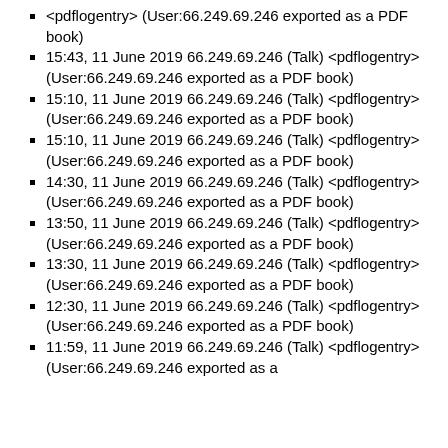<pdflogentry> (User:66.249.69.246 exported as a PDF book)
15:43, 11 June 2019 66.249.69.246 (Talk) <pdflogentry> (User:66.249.69.246 exported as a PDF book)
15:10, 11 June 2019 66.249.69.246 (Talk) <pdflogentry> (User:66.249.69.246 exported as a PDF book)
15:10, 11 June 2019 66.249.69.246 (Talk) <pdflogentry> (User:66.249.69.246 exported as a PDF book)
14:30, 11 June 2019 66.249.69.246 (Talk) <pdflogentry> (User:66.249.69.246 exported as a PDF book)
13:50, 11 June 2019 66.249.69.246 (Talk) <pdflogentry> (User:66.249.69.246 exported as a PDF book)
13:30, 11 June 2019 66.249.69.246 (Talk) <pdflogentry> (User:66.249.69.246 exported as a PDF book)
12:30, 11 June 2019 66.249.69.246 (Talk) <pdflogentry> (User:66.249.69.246 exported as a PDF book)
11:59, 11 June 2019 66.249.69.246 (Talk) <pdflogentry> (User:66.249.69.246 exported as a